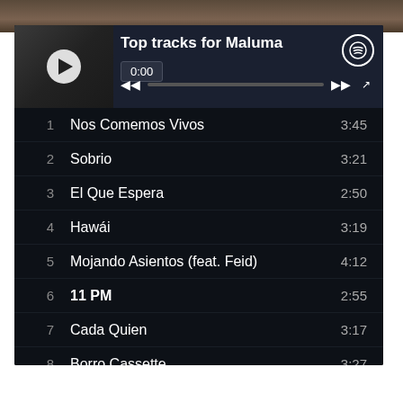[Figure (screenshot): Spotify 'Top tracks for Maluma' player screenshot showing artist thumbnail, playback controls at 0:00, and a list of 10 top tracks with durations]
Top tracks for Maluma
| # | Track | Duration |
| --- | --- | --- |
| 1 | Nos Comemos Vivos | 3:45 |
| 2 | Sobrio | 3:21 |
| 3 | El Que Espera | 2:50 |
| 4 | Hawái | 3:19 |
| 5 | Mojando Asientos (feat. Feid) | 4:12 |
| 6 | 11 PM | 2:55 |
| 7 | Cada Quien | 3:17 |
| 8 | Borro Cassette | 3:27 |
| 9 | Perfecta | 2:54 |
| 10 | Felices los 4 | 3:50 |